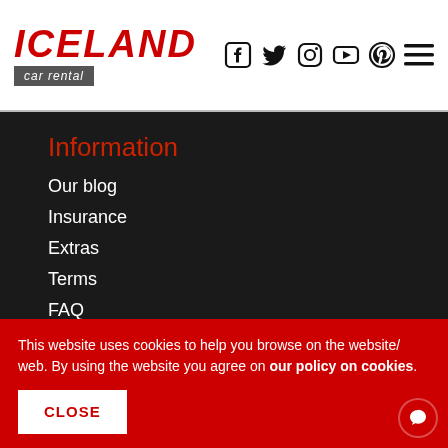ICELAND car rental — navigation header with social icons
Information
Our blog
Insurance
Extras
Terms
FAQ
This website uses cookies to help you browse on the website/ web. By using the website you agree on our policy on cookies.